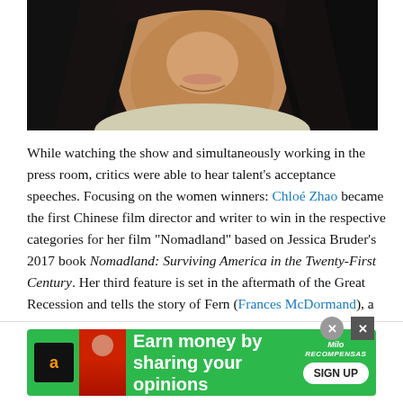[Figure (photo): Close-up photo of a woman with long dark hair and light-colored top, smiling slightly, against a dark background.]
While watching the show and simultaneously working in the press room, critics were able to hear talent's acceptance speeches. Focusing on the women winners: Chloé Zhao became the first Chinese film director and writer to win in the respective categories for her film "Nomadland" based on Jessica Bruder's 2017 book Nomadland: Surviving America in the Twenty-First Century. Her third feature is set in the aftermath of the Great Recession and tells the story of Fern (Frances McDormand), a woman who moves into her camper van and travels across the
[Figure (infographic): Advertisement banner: green background with Amazon logo, person graphic, text 'Earn money by sharing your opinions', MiloRecompensas branding, and SIGN UP button.]